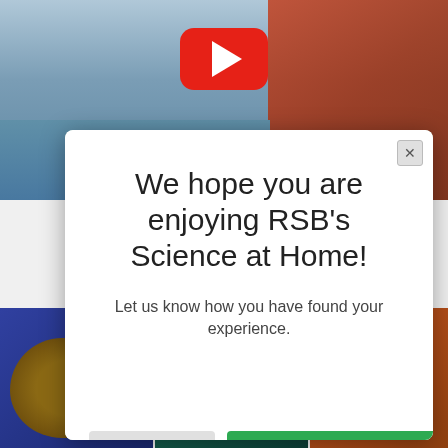[Figure (screenshot): Background showing a ship with red crane machinery on the right, water below, and a YouTube play button icon in the center top area.]
We hope you are enjoying RSB's Science at Home!
Let us know how you have found your experience.
No Thanks
Fill in our quick evaluation
powered by SurveyMonkey
[Figure (photo): Thumbnail images at bottom: a mussel/clam shell on blue background, a manatee or dugong swimming in green water, and an animal on orange/brown background.]